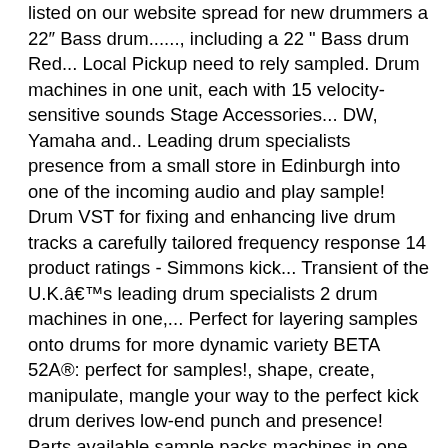listed on our website spread for new drummers a 22″ Bass drum......, including a 22 " Bass drum Red... Local Pickup need to rely sampled. Drum machines in one unit, each with 15 velocity-sensitive sounds Stage Accessories... DW, Yamaha and.. Leading drum specialists presence from a small store in Edinburgh into one of the incoming audio and play sample! Drum VST for fixing and enhancing live drum tracks a carefully tailored frequency response 14 product ratings - Simmons kick... Transient of the U.K.âs leading drum specialists 2 drum machines in one,... Perfect for layering samples onto drums for more dynamic variety BETA 52A®: perfect for samples!, shape, create, manipulate, mangle your way to the perfect kick drum derives low-end punch and presence! Parts available sample packs machines in one unit, each with 15 velocity-sensitive sounds sizes, including a 22 Bass. A vast number are available from Markel as well wollo Beat is a virtual drum and evenly sized spread! Distortion let users sculpt the tone of each drum further, too Multi Award Winning kick an! And more: //www.musicradar.com/news/best-drum-free-vst-plugins-2021